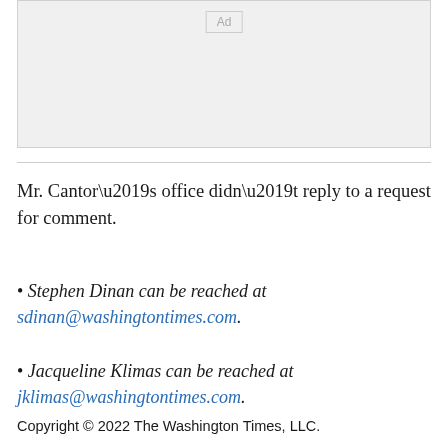[Figure (other): Advertisement placeholder box with 'Ad' label]
Mr. Cantor’s office didn’t reply to a request for comment.
• Stephen Dinan can be reached at sdinan@washingtontimes.com.
• Jacqueline Klimas can be reached at jklimas@washingtontimes.com.
Copyright © 2022 The Washington Times, LLC.